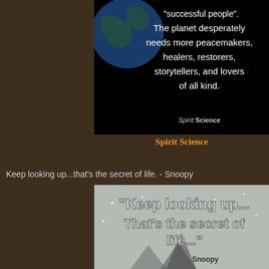[Figure (illustration): Dark background image showing Earth from space with white text quote about peacemakers, healers, restorers, storytellers, and lovers of all kind. 'Spirit Science' watermark at bottom.]
Spirit Science
Keep looking up...that's the secret of life. - Snoopy
[Figure (illustration): Grey winter/snow scene background with bold white outlined text: "Keep looking up... That's the secret of life..." attributed to Snoopy.]